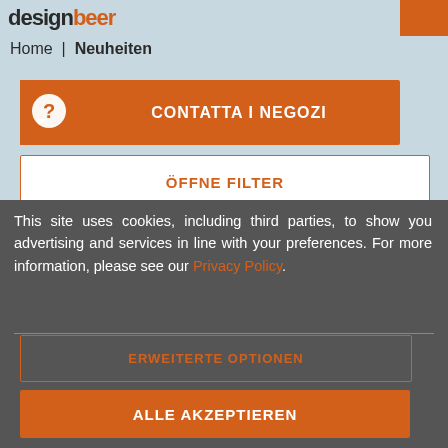designbeer (logo)
Home | Neuheiten
CONTATTA I NEGOZI
ÖFFNE FILTER
This site uses cookies, including third parties, to show you advertising and services in line with your preferences. For more information, please see our Privacy Policy.
ERWEITERTE OPTIONEN
ALLE AKZEPTIEREN